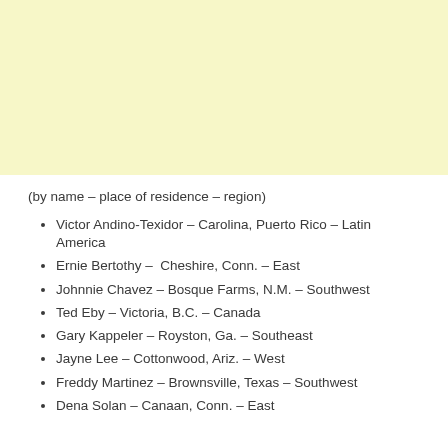[Figure (other): Yellow/cream colored block occupying the top portion of the page]
(by name – place of residence – region)
Victor Andino-Texidor – Carolina, Puerto Rico – Latin America
Ernie Bertothy –  Cheshire, Conn. – East
Johnnie Chavez – Bosque Farms, N.M. – Southwest
Ted Eby – Victoria, B.C. – Canada
Gary Kappeler – Royston, Ga. – Southeast
Jayne Lee – Cottonwood, Ariz. – West
Freddy Martinez – Brownsville, Texas – Southwest
Dena Solan – Canaan, Conn. – East